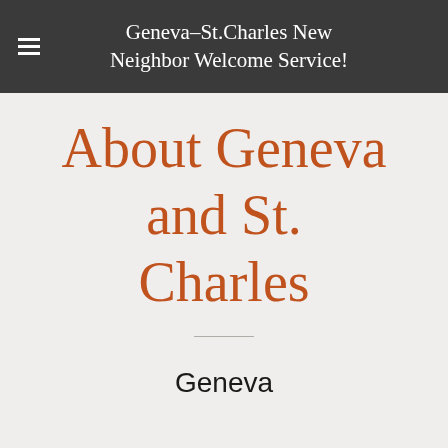Geneva-St.Charles New Neighbor Welcome Service!
About Geneva and St. Charles
Geneva